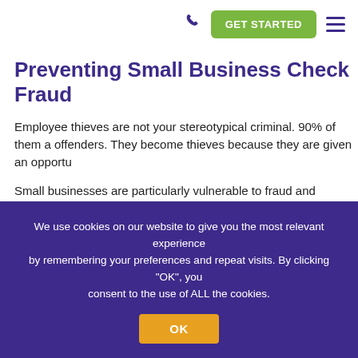GET STARTED
Preventing Small Business Check Fraud
Employee thieves are not your stereotypical criminal. 90% of them a... offenders. They become thieves because they are given an opportu...
Small businesses are particularly vulnerable to fraud and employee... because they lack the resources to implement strong internal contro... segregate duties in the accounting department. Check out this vide... practices to protect your business from check fraud:
We use cookies on our website to give you the most relevant experience by remembering your preferences and repeat visits. By clicking "OK", you consent to the use of ALL the cookies.